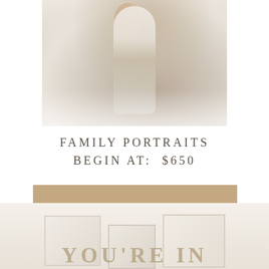[Figure (photo): Faded/soft-focus outdoor family portrait showing an adult (from chest down) holding a baby, wearing white top and light jeans, with a soft green/neutral bokeh background]
FAMILY PORTRAITS BEGIN AT: $650
PLEASE SEND ME THE DETAILS!
[Figure (photo): Bottom section showing styled photo frames/prints displayed, with partial text 'YOU'RE IN' visible in large gold serif letters at the bottom]